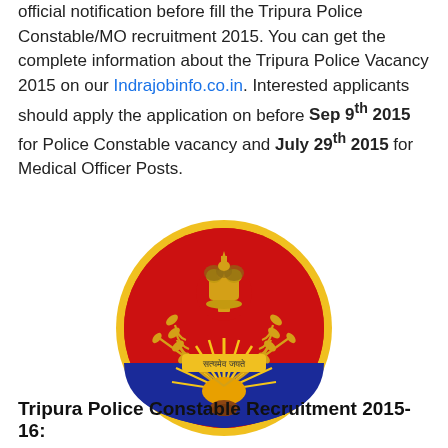official notification before fill the Tripura Police Constable/MO recruitment 2015. You can get the complete information about the Tripura Police Vacancy 2015 on our Indrajobinfo.co.in. Interested applicants should apply the application on before Sep 9th 2015 for Police Constable vacancy and July 29th 2015 for Medical Officer Posts.
[Figure (logo): Tripura Police emblem - oval badge with red and blue background, Ashoka lion capital at top, golden wheat/laurel wreaths on sides, rising sun rays at bottom center, and 'सत्यमेव जयते' text]
Tripura Police Constable Recruitment 2015-16: